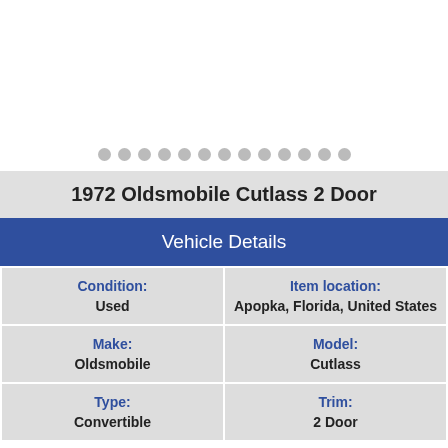[Figure (other): Carousel dot indicators (13 gray dots in a row)]
1972 Oldsmobile Cutlass 2 Door
Vehicle Details
| Field | Value |
| --- | --- |
| Condition: | Used | Item location: | Apopka, Florida, United States |
| Make: | Oldsmobile | Model: | Cutlass |
| Type: | Convertible | Trim: | 2 Door |